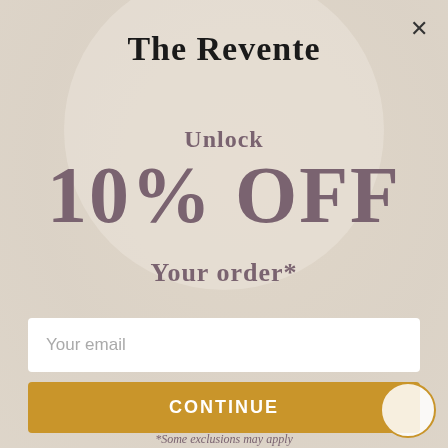The Revente
Unlock
10% OFF
Your order*
Your email
CONTINUE
*Some exclusions may apply
Leave a message